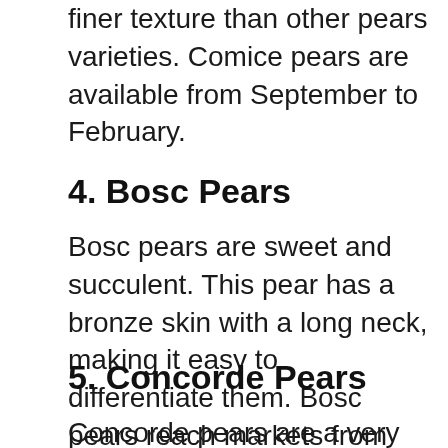finer texture than other pears varieties. Comice pears are available from September to February.
4. Bosc Pears
Bosc pears are sweet and succulent. This pear has a bronze skin with a long neck, making it easy to differentiate them. Bosc pears reach markets from late September to April.
5. Concorde Pears
Concorde pears are a very sweet variety of pear. They have bright green skin, a